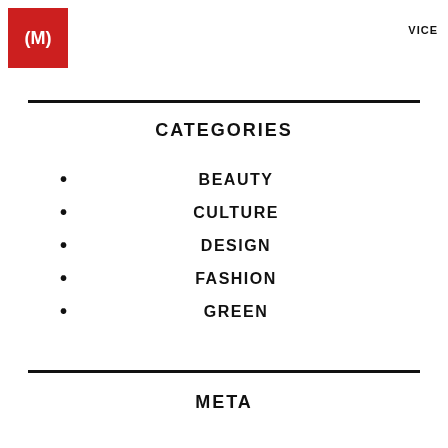(M)  VICE
CATEGORIES
BEAUTY
CULTURE
DESIGN
FASHION
GREEN
META